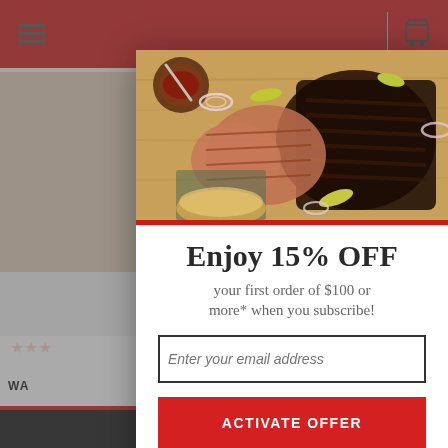[Figure (screenshot): E-commerce website background showing partial product images, navigation bar with hamburger menu and cart icon, red header bar, and dark bottom bar]
[Figure (photo): Food photo showing sliced BBQ brisket on a wooden cutting board with sauce, peppers, and onions]
Enjoy 15% OFF
your first order of $100 or more* when you subscribe!
Enter your email address
ACTIVATE OFFER
No Thank You